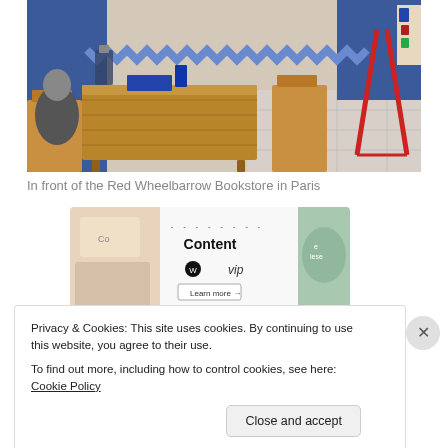[Figure (photo): Photo of a wooden table and chairs in front of the Red Wheelbarrow Bookstore in Paris, with blue decorative storefront visible in background and books on the table.]
In front of the Red Wheelbarrow Bookstore in Paris
[Figure (screenshot): Advertisement banner showing WordPress VIP content promotion with 'Content', WordPress logo, 'vip' text, and 'Learn more' button, with decorative book/card imagery on sides.]
Privacy & Cookies: This site uses cookies. By continuing to use this website, you agree to their use.
To find out more, including how to control cookies, see here: Cookie Policy
Close and accept